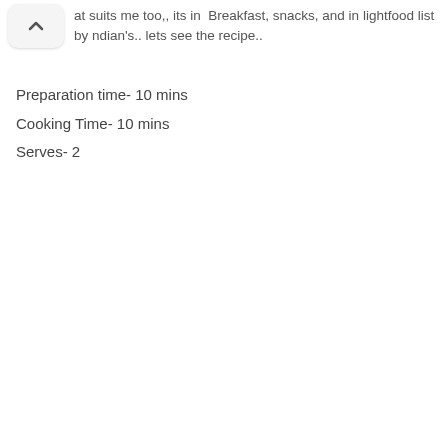at suits me too,, its in  Breakfast, snacks, and in lightfood list by ndian's.. lets see the recipe..
Preparation time- 10 mins
Cooking Time- 10 mins
Serves- 2